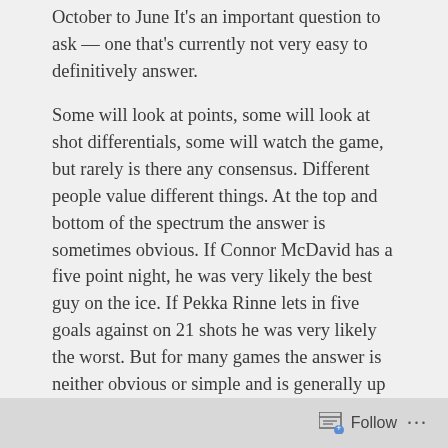October to June It's an important question to ask — one that's currently not very easy to definitively answer.
Some will look at points, some will look at shot differentials, some will watch the game, but rarely is there any consensus. Different people value different things. At the top and bottom of the spectrum the answer is sometimes obvious. If Connor McDavid has a five point night, he was very likely the best guy on the ice. If Pekka Rinne lets in five goals against on 21 shots he was very likely the worst. But for many games the answer is neither obvious or simple and is generally up for debate depending on an observer's personal value system.
What we don't have in hockey is a standardized measurement for single game productivity. It's not something that will end any debate, but it can provide a
Follow ···